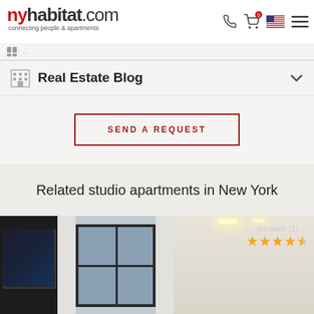nyhabitat.com connecting people & apartments
Real Estate Blog
SEND A REQUEST
Related studio apartments in New York
[Figure (photo): Interior photo of a studio apartment with TV on wall, curtained windows with dark frames, ceiling recessed lighting, and warm white walls. Reviews (1) badge visible with approximately 4-star rating shown in gold stars.]